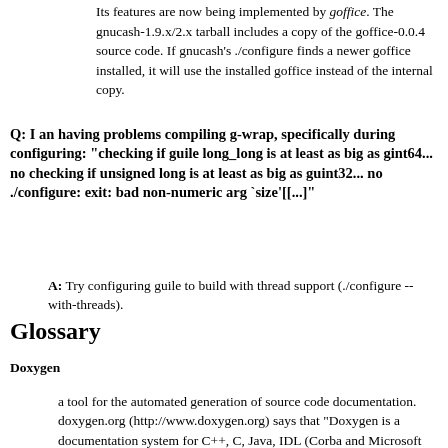Its features are now being implemented by goffice. The gnucash-1.9.x/2.x tarball includes a copy of the goffice-0.0.4 source code. If gnucash's ./configure finds a newer goffice installed, it will use the installed goffice instead of the internal copy.
Q: I an having problems compiling g-wrap, specifically during configuring: "checking if guile long_long is at least as big as gint64... no checking if unsigned long is at least as big as guint32... no ./configure: exit: bad non-numeric arg `size'[[...]"
A: Try configuring guile to build with thread support (./configure --with-threads).
Glossary
Doxygen
a tool for the automated generation of source code documentation. doxygen.org (http://www.doxygen.org) says that "Doxygen is a documentation system for C++, C, Java, IDL (Corba and Microsoft flavors) and to some extent PHP and C#."